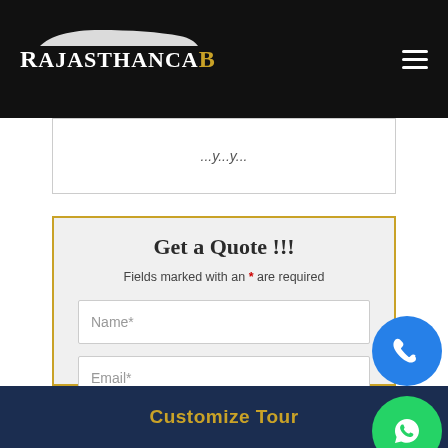RajasthanCaB
Fields marked with an * are required
Get a Quote !!!
Name*
Email*
Customize Tour